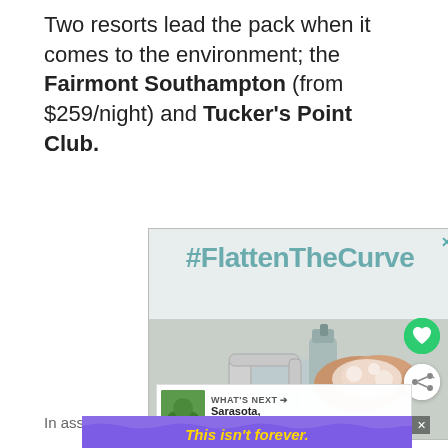Two resorts lead the pack when it comes to the environment; the Fairmont Southampton (from $259/night) and Tucker's Point Club.
[Figure (photo): Advertisement showing hands being washed at a sink with soap, with text '#FlattenTheCurve' overlaid. A soap dispenser and faucet are visible.]
In association with the Bermuda Environment...
[Figure (infographic): Purple advertisement banner with yellow italic text reading 'This isn't forever. It's just right now.' with wavy line decorations.]